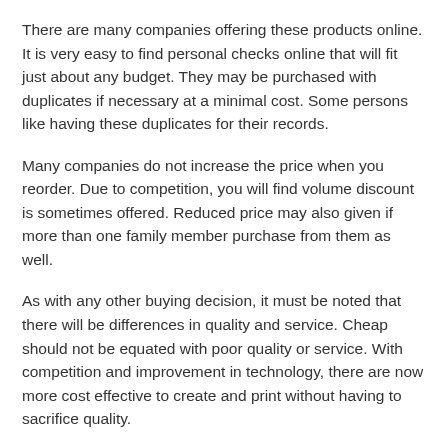There are many companies offering these products online. It is very easy to find personal checks online that will fit just about any budget. They may be purchased with duplicates if necessary at a minimal cost. Some persons like having these duplicates for their records.
Many companies do not increase the price when you reorder. Due to competition, you will find volume discount is sometimes offered. Reduced price may also given if more than one family member purchase from them as well.
As with any other buying decision, it must be noted that there will be differences in quality and service. Cheap should not be equated with poor quality or service. With competition and improvement in technology, there are now more cost effective to create and print without having to sacrifice quality.
Maintaining Personal Security
When dealing with anything of a financial nature, the reputation of the company should be a major consideration